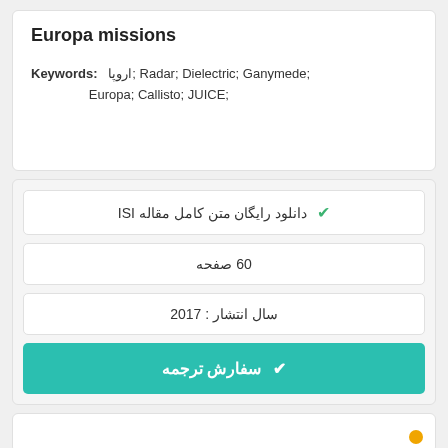Europa missions
Keywords: اروپا; Radar; Dielectric; Ganymede; Europa; Callisto; JUICE;
✔ دانلود رایگان متن کامل مقاله ISI
60 صفحه
سال انتشار : 2017
✔ سفارش ترجمه